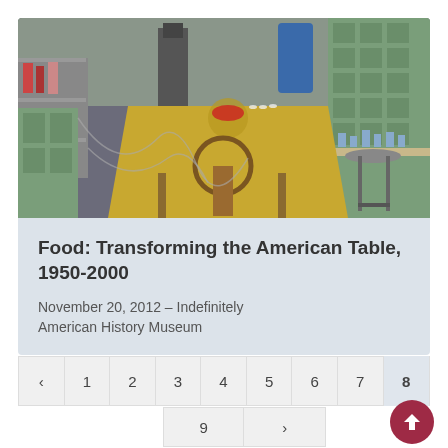[Figure (photo): Interior of a kitchen/laboratory exhibit space with green cabinets, a table with yellow tablecloth, equipment on shelves, and industrial-style stools. The space resembles a mid-20th century food science kitchen.]
Food: Transforming the American Table, 1950-2000
November 20, 2012 – Indefinitely
American History Museum